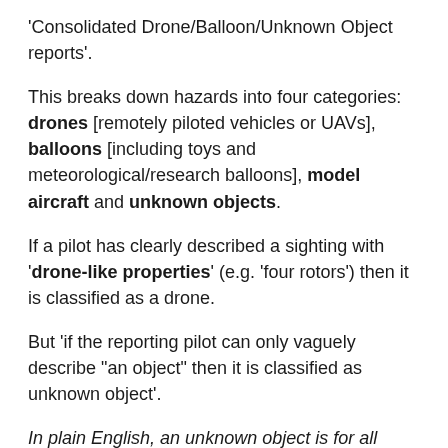'Consolidated Drone/Balloon/Unknown Object reports'.
This breaks down hazards into four categories: drones [remotely piloted vehicles or UAVs], balloons [including toys and meteorological/research balloons], model aircraft and unknown objects.
If a pilot has clearly described a sighting with 'drone-like properties' (e.g. 'four rotors') then it is classified as a drone.
But 'if the reporting pilot can only vaguely describe "an object" then it is classified as unknown object'.
In plain English, an unknown object is for all intents and purposes a UFO.
Last year 11 incidents involving 'unknowns' were logged.